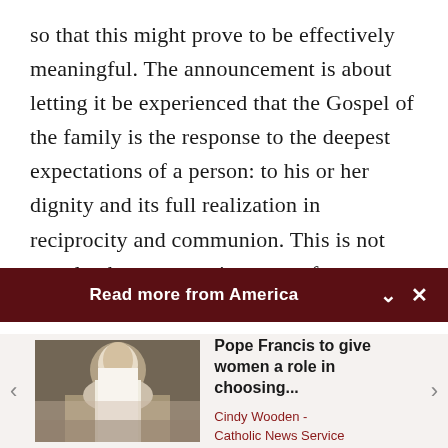so that this might prove to be effectively meaningful. The announcement is about letting it be experienced that the Gospel of the family is the response to the deepest expectations of a person: to his or her dignity and its full realization in reciprocity and communion. This is not merely about presenting a set of regulations but about putting forward values, responding to the need of those who find
[Figure (screenshot): Dark maroon banner reading 'Read more from America' with a chevron-down and X icon on the right]
[Figure (photo): Photo of Pope Francis in white vestments gesturing with his hand, seated in a chair]
Pope Francis to give women a role in choosing...
Cindy Wooden - Catholic News Service